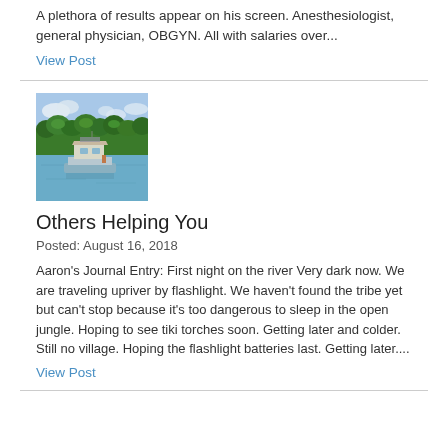A plethora of results appear on his screen. Anesthesiologist, general physician, OBGYN. All with salaries over...
View Post
[Figure (photo): A houseboat or floating structure on a wide river with dense green jungle/trees on the far bank and blue sky with clouds.]
Others Helping You
Posted: August 16, 2018
Aaron's Journal Entry: First night on the river Very dark now. We are traveling upriver by flashlight. We haven't found the tribe yet but can't stop because it's too dangerous to sleep in the open jungle. Hoping to see tiki torches soon. Getting later and colder. Still no village. Hoping the flashlight batteries last. Getting later....
View Post